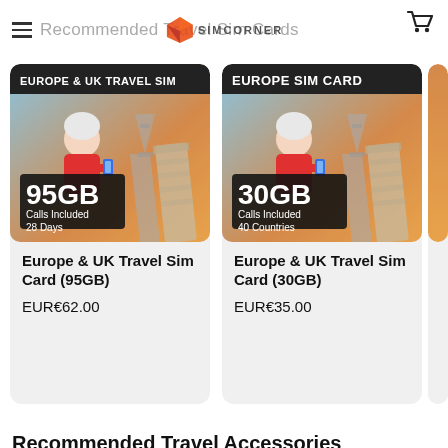Recommended Travel Sim Cards — SimCorner
[Figure (illustration): Europe & UK Travel SIM card product image showing 95GB, Calls Included, 28 Days]
Europe & UK Travel Sim Card (95GB)
EUR€62.00
[Figure (illustration): Europe SIM Card product image showing 30GB, Calls Included, 40 Countries]
Europe & UK Travel Sim Card (30GB)
EUR€35.00
Recommended Travel Accessories